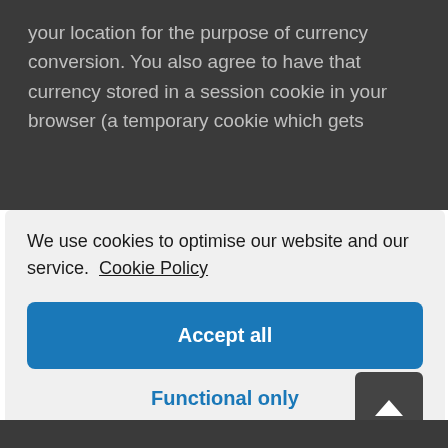your location for the purpose of currency conversion. You also agree to have that currency stored in a session cookie in your browser (a temporary cookie which gets
We use cookies to optimise our website and our service.  Cookie Policy
Accept all
Functional only
View preferences